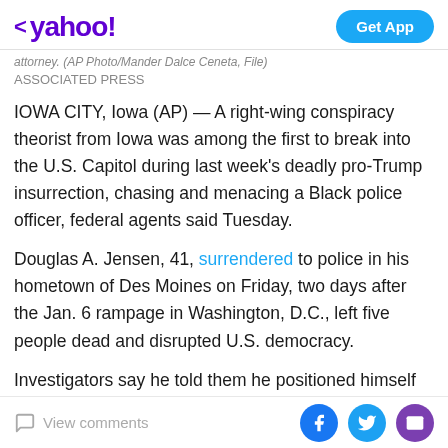< yahoo!   Get App
attorney. (AP Photo/Mander Dalce Ceneta, File)
ASSOCIATED PRESS
IOWA CITY, Iowa (AP) — A right-wing conspiracy theorist from Iowa was among the first to break into the U.S. Capitol during last week's deadly pro-Trump insurrection, chasing and menacing a Black police officer, federal agents said Tuesday.
Douglas A. Jensen, 41, surrendered to police in his hometown of Des Moines on Friday, two days after the Jan. 6 rampage in Washington, D.C., left five people dead and disrupted U.S. democracy.
Investigators say he told them he positioned himself to
View comments